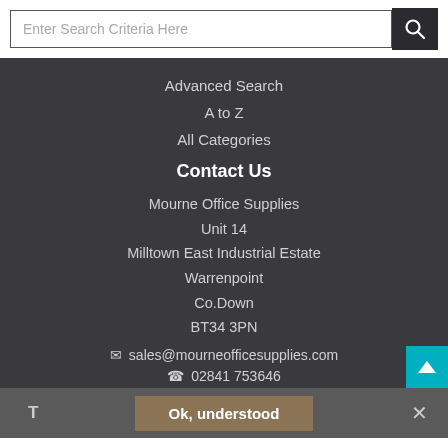Enter Search Criteria Here
Advanced Search
A to Z
All Categories
Contact Us
Mourne Office Supplies
Unit 14
Milltown East Industrial Estate
Warrenpoint
Co.Down
BT34 3PN
✉ sales@mourneofficesupplies.com
☎ 02841 753646
T   Ok, understood   ✕